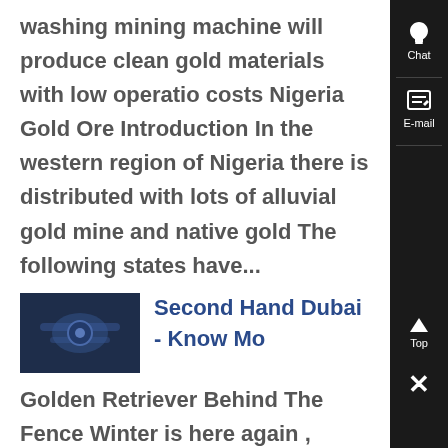washing mining machine will produce clean gold materials with low operation costs Nigeria Gold Ore Introduction In the western region of Nigeria there is distributed with lots of alluvial gold mine and native gold The following states have...
[Figure (photo): Thumbnail photo of industrial machinery, dark blue tones]
Second Hand Dubai - Know Mo...
Golden Retriever Behind The Fence Winter is here again , Washing machine 98 Watches 92 Table , Second Hand Dubai is a place to connect people looking to sell or buy second hand products in the UAE 2 years ago 359 Views 0 0 Furniture Corner cabinet